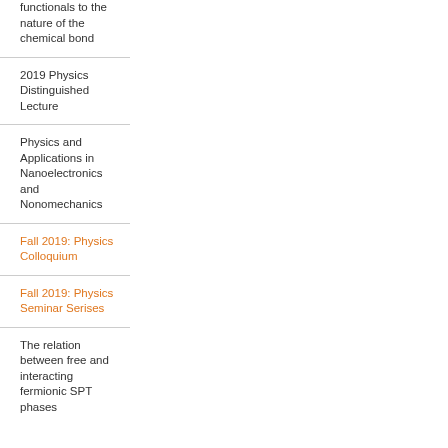functionals to the nature of the chemical bond
2019 Physics Distinguished Lecture
Physics and Applications in Nanoelectronics and Nonomechanics
Fall 2019: Physics Colloquium
Fall 2019: Physics Seminar Serises
The relation between free and interacting fermionic SPT phases